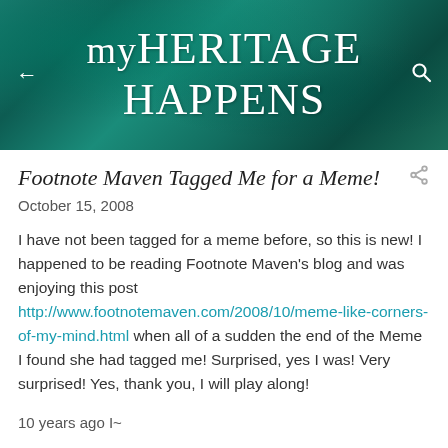myHERITAGE HAPPENS
Footnote Maven Tagged Me for a Meme!
October 15, 2008
I have not been tagged for a meme before, so this is new! I happened to be reading Footnote Maven's blog and was enjoying this post http://www.footnotemaven.com/2008/10/meme-like-corners-of-my-mind.html when all of a sudden the end of the Meme I found she had tagged me! Surprised, yes I was! Very surprised! Yes, thank you, I will play along!
10 years ago I~